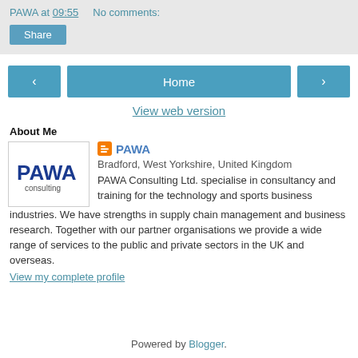PAWA at 09:55   No comments:
Share
‹   Home   ›
View web version
About Me
[Figure (logo): PAWA Consulting logo with blue bold PAWA text and smaller 'consulting' text below]
PAWA
Bradford, West Yorkshire, United Kingdom
PAWA Consulting Ltd. specialise in consultancy and training for the technology and sports business industries. We have strengths in supply chain management and business research. Together with our partner organisations we provide a wide range of services to the public and private sectors in the UK and overseas.
View my complete profile
Powered by Blogger.